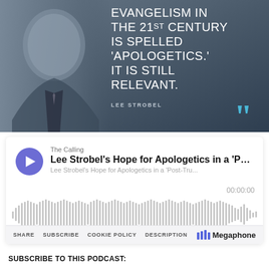[Figure (photo): Hero image with a man in a suit smiling, dark blue-grey background, with a quote overlay and closing quotation marks in teal. Text reads: EVANGELISM IN THE 21ST CENTURY IS SPELLED 'APOLOGETICS.' IT IS STILL RELEVANT. — LEE STROBEL]
[Figure (screenshot): Podcast player widget: purple play button, title 'The Calling / Lee Strobel's Hope for Apologetics in a Post-...', timestamp 00:00:00, audio waveform visualization, footer with SHARE SUBSCRIBE COOKIE POLICY DESCRIPTION and Megaphone logo]
SUBSCRIBE TO THIS PODCAST: